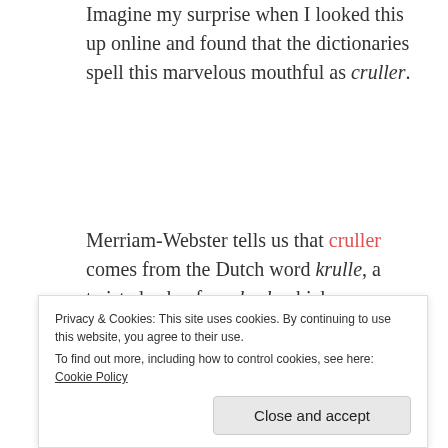Imagine my surprise when I looked this up online and found that the dictionaries spell this marvelous mouthful as cruller.
Merriam-Webster tells us that cruller comes from the Dutch word krulle, a twisted cake, from krul, which means curly. I then went on to find out that Dutch immigrants were involved in the creation of the modern American doughnut.
Privacy & Cookies: This site uses cookies. By continuing to use this website, you agree to their use. To find out more, including how to control cookies, see here: Cookie Policy
Close and accept